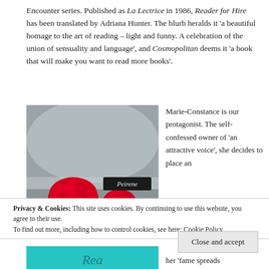Encounter series. Published as La Lectrice in 1986, Reader for Hire has been translated by Adriana Hunter. The blurb heralds it 'a beautiful homage to the art of reading – light and funny. A celebration of the union of sensuality and language', and Cosmopolitan deems it 'a book that will make you want to read more books'.
[Figure (photo): Book cover of Peirene Press edition showing two red raspberries on a grey reflective surface, with the Peirene logo label visible]
Marie-Constance is our protagonist. The self-confessed owner of 'an attractive voice', she decides to place an
Privacy & Cookies: This site uses cookies. By continuing to use this website, you agree to their use.
To find out more, including how to control cookies, see here: Cookie Policy
Close and accept
[Figure (photo): Bottom portion of a teal/cyan colored image with partial text visible]
her 'fame spreads